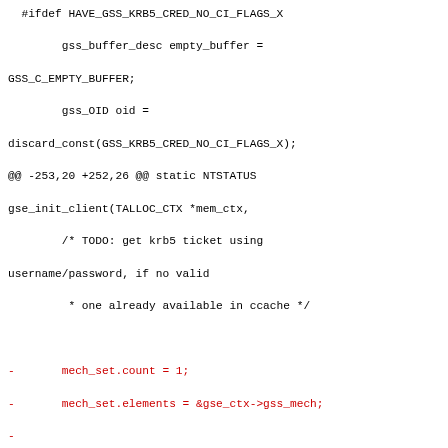Code diff showing GSS KRB5 credential handling changes, including removal of gss_acquire_cred and addition of gss_krb5_import_cred in gse_init_client function.